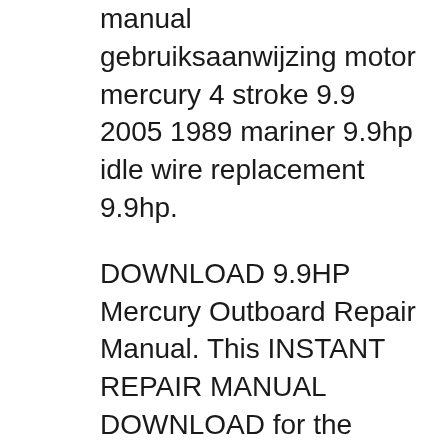manual gebruiksaanwijzing motor mercury 4 stroke 9.9 2005 1989 mariner 9.9hp idle wire replacement 9.9hp.
DOWNLOAD 9.9HP Mercury Outboard Repair Manual. This INSTANT REPAIR MANUAL DOWNLOAD for the Mercury-Mariner, Johnson-Evinrude, Suzuki, Honda, Yamaha 15HP outboard engines were designed primarily for factory service 15HP outboard technicians in a properly equipped shop.However, enough information in 15HP outboard repair manuals is given for do-it-yourself or apprentice mechanics to correctly and safely perform repair вЂ¦, This INSTANT REPAIR MANUAL